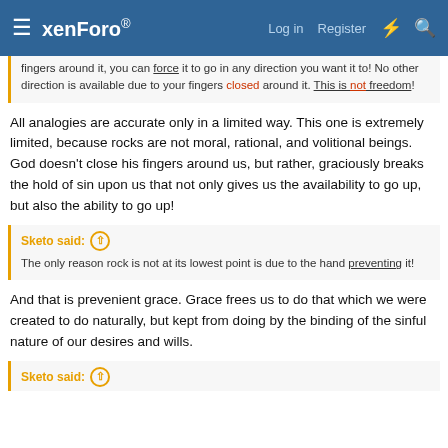xenForo | Log in | Register
fingers around it, you can force it to go in any direction you want it to! No other direction is available due to your fingers closed around it. This is not freedom!
All analogies are accurate only in a limited way. This one is extremely limited, because rocks are not moral, rational, and volitional beings. God doesn't close his fingers around us, but rather, graciously breaks the hold of sin upon us that not only gives us the availability to go up, but also the ability to go up!
Sketo said: The only reason rock is not at its lowest point is due to the hand preventing it!
And that is prevenient grace. Grace frees us to do that which we were created to do naturally, but kept from doing by the binding of the sinful nature of our desires and wills.
Sketo said: